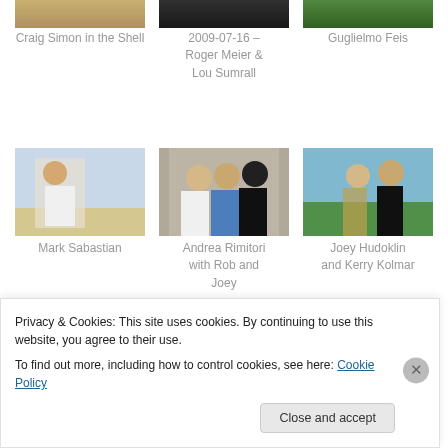[Figure (photo): Partial photo top strip - Craig Simon in the Shell]
Craig Simon in the Shell
[Figure (photo): Partial photo top strip - 2009-07-16 - Roger Meier & Lou Sumrall]
2009-07-16 – Roger Meier & Lou Sumrall
[Figure (photo): Partial photo top strip - Guglielmo Feis]
Guglielmo Feis
[Figure (photo): Photo of Mark Sabastian on beach throwing something]
Mark Sabastian
[Figure (photo): Photo of Andrea Rimitori with Rob and Joey in front of arch]
Andrea Rimitori with Rob and Joey
[Figure (photo): Photo of Joey Hudoklin and Kerry Kolmar sitting on grass]
Joey Hudoklin and Kerry Kolmar
Privacy & Cookies: This site uses cookies. By continuing to use this website, you agree to their use.
To find out more, including how to control cookies, see here: Cookie Policy
Close and accept